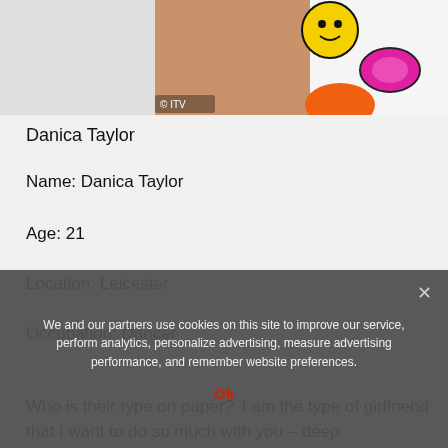[Figure (photo): Partial photo of Danica Taylor with colorful sunglasses pattern visible, ITV copyright watermark in bottom left]
Danica Taylor
Name: Danica Taylor
Age: 21
Location: Leicester
Occupation: Dancer
Who is their type on paper? 'I am the type of girlfriend that I want to do so much with you – deep conversations, silly activities.
We and our partners use cookies on this site to improve our service, perform analytics, personalize advertising, measure advertising performance, and remember website preferences.
Ok